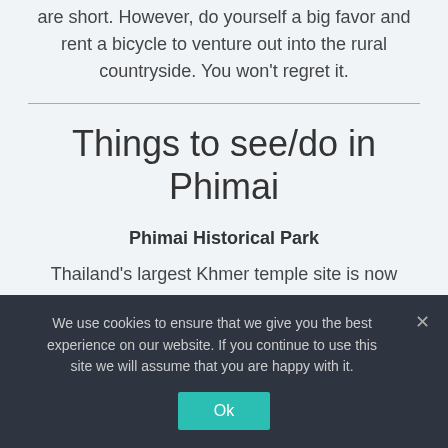are short. However, do yourself a big favor and rent a bicycle to venture out into the rural countryside. You won't regret it.
Things to see/do in Phimai
Phimai Historical Park
Thailand's largest Khmer temple site is now
We use cookies to ensure that we give you the best experience on our website. If you continue to use this site we will assume that you are happy with it.